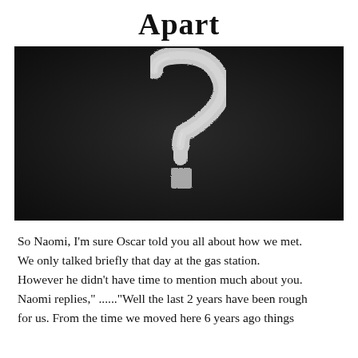Apart
[Figure (photo): A chalk question mark drawn on a dark chalkboard background]
So Naomi, I'm sure Oscar told you all about how we met. We only talked briefly that day at the gas station. However he didn't have time to mention much about you. Naomi replies," ......"Well the last 2 years have been rough for us. From the time we moved here 6 years ago things